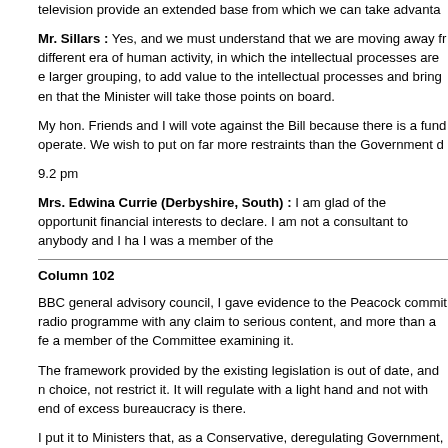television provide an extended base from which we can take advantage
Mr. Sillars : Yes, and we must understand that we are moving away from a different era of human activity, in which the intellectual processes are enlarged by a larger grouping, to add value to the intellectual processes and bring enrichment, and that the Minister will take those points on board.
My hon. Friends and I will vote against the Bill because there is a fundamental disagreement about how it should operate. We wish to put on far more restraints than the Government do.
9.2 pm
Mrs. Edwina Currie (Derbyshire, South) : I am glad of the opportunity to speak. I have no financial interests to declare. I am not a consultant to anybody and I have not been. I was a member of the
Column 102
BBC general advisory council, I gave evidence to the Peacock committee, I have presented a radio programme with any claim to serious content, and more than a few years ago I was a member of the Committee examining it.
The framework provided by the existing legislation is out of date, and new legislation should extend choice, not restrict it. It will regulate with a light hand and not with endless red tape. The danger of excess bureaucracy is there.
I put it to Ministers that, as a Conservative, deregulating Government, we should regulate as little as possible. I say that with some passion, having listened to speeches from present and erstwhile members of the Labour party, say that Government should interfere. Governments who want to regulate the media, whether from the highest motives, end up telling the press what they can or cannot do.